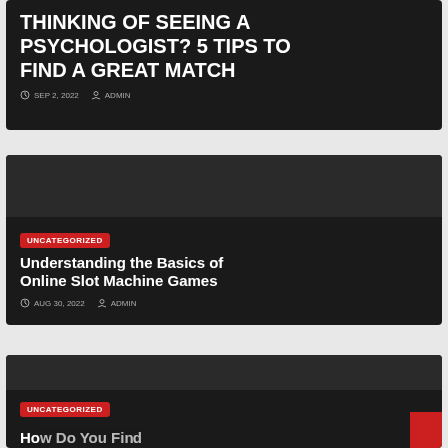THINKING OF SEEING A PSYCHOLOGIST? 5 TIPS TO FIND A GREAT MATCH
SEP 2, 2022   ADMIN
UNCATEGORIZED
Understanding the Basics of Online Slot Machine Games
AUG 30, 2022   ADMIN
UNCATEGORIZED
How Do You Find...